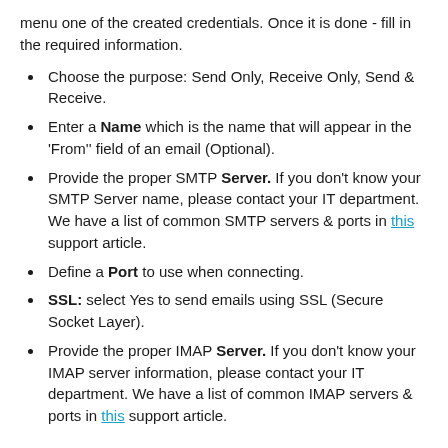menu one of the created credentials. Once it is done - fill in the required information.
Choose the purpose: Send Only, Receive Only, Send & Receive.
Enter a Name which is the name that will appear in the 'From'' field of an email (Optional).
Provide the proper SMTP Server. If you don't know your SMTP Server name, please contact your IT department. We have a list of common SMTP servers & ports in this support article.
Define a Port to use when connecting.
SSL: select Yes to send emails using SSL (Secure Socket Layer).
Provide the proper IMAP Server. If you don't know your IMAP server information, please contact your IT department. We have a list of common IMAP servers & ports in this support article.